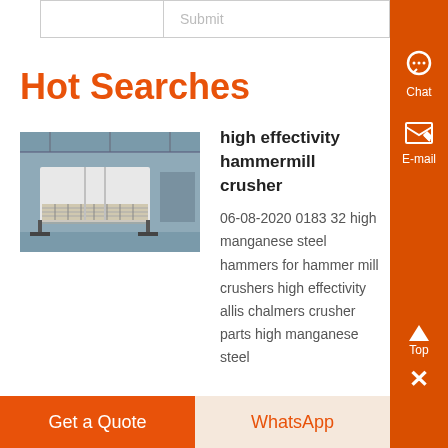|  | Submit |
Hot Searches
[Figure (photo): Industrial hammer mill crusher machinery in a warehouse setting]
high effectivity hammermill crusher
06-08-2020 0183 32 high manganese steel hammers for hammer mill crushers high effectivity allis chalmers crusher parts high manganese steel